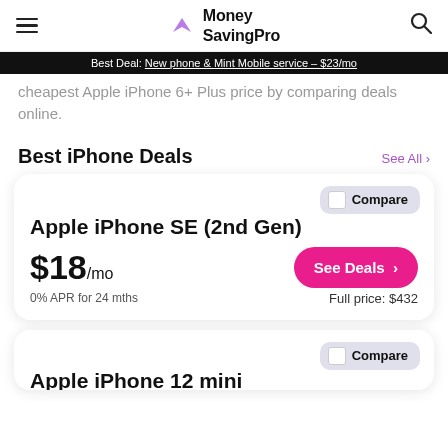Money SavingPro
Best Deal: New phone & Mint Mobile service – $23/mo
cheapest Apple iPhone 6+ Plus price by comparing deals online.
Best iPhone Deals
Compare
Apple iPhone SE (2nd Gen)
$18/mo
0% APR for 24 mths
Full price: $432
Compare
Apple iPhone 12 mini